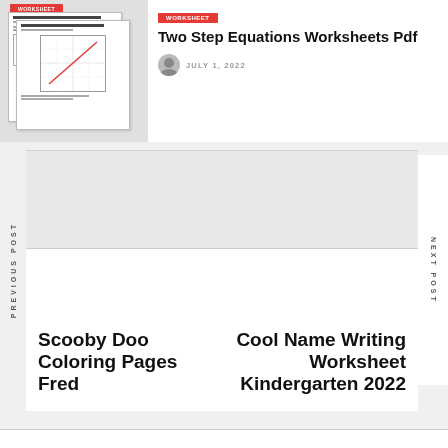[Figure (screenshot): Thumbnail image of a two-step equations worksheet with grid graph]
Two Step Equations Worksheets Pdf
JULY 1, 2022
PREVIOUS POST
NEXT POST
Scooby Doo Coloring Pages Fred
Cool Name Writing Worksheet Kindergarten 2022